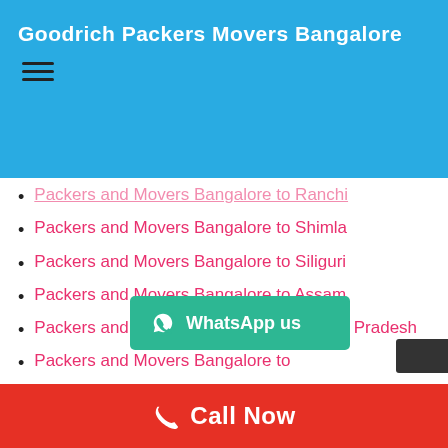Goodrich Packers Movers Bangalore
Packers and Movers Bangalore to Ranchi
Packers and Movers Bangalore to Shimla
Packers and Movers Bangalore to Siliguri
Packers and Movers Bangalore to Assam
Packers and Movers Bangalore to Andhra Pradesh
Packers and Movers Bangalore to [partially obscured]
Packers and Movers Bangalore to Kerala
Packers and Movers Bangalore to [cut off]
[Figure (other): WhatsApp us button with WhatsApp icon]
Call Now